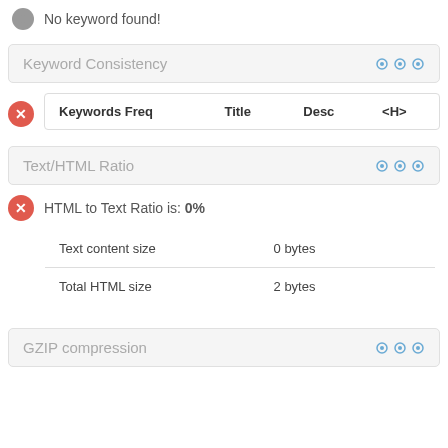No keyword found!
Keyword Consistency
| Keywords Freq | Title | Desc | <H> |
| --- | --- | --- | --- |
Text/HTML Ratio
HTML to Text Ratio is: 0%
|  |  |
| --- | --- |
| Text content size | 0 bytes |
| Total HTML size | 2 bytes |
GZIP compression